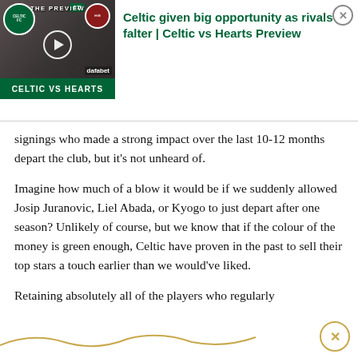[Figure (screenshot): Video thumbnail for Celtic vs Hearts preview. Left side shows Celtic FC badge and a play button over action photos. Bottom green bar reads 'CELTIC vs HEARTS'. Right side shows ad title text in green: 'Celtic given big opportunity as rivals falter | Celtic vs Hearts Preview' with a close button.]
signings who made a strong impact over the last 10-12 months depart the club, but it's not unheard of.
Imagine how much of a blow it would be if we suddenly allowed Josip Juranovic, Liel Abada, or Kyogo to just depart after one season? Unlikely of course, but we know that if the colour of the money is green enough, Celtic have proven in the past to sell their top stars a touch earlier than we would've liked.
Retaining absolutely all of the players who regularly feature in the starting XI or even the ben...